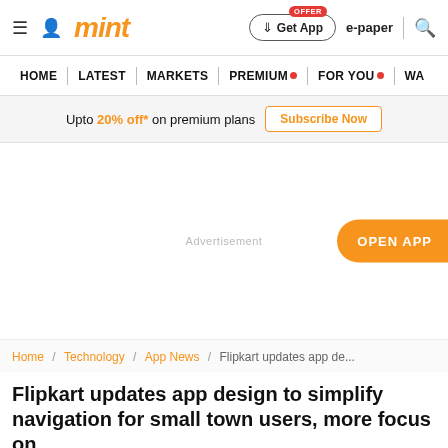mint — Get App | e-paper | search
HOME | LATEST | MARKETS | PREMIUM | FOR YOU | WA
Upto 20% off* on premium plans   Subscribe Now
Advertisement
OPEN APP
Home / Technology / App News / Flipkart updates app de...
Flipkart updates app design to simplify navigation for small town users, more focus on